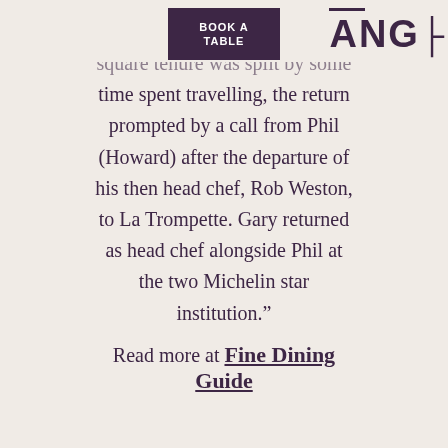BOOK A TABLE | ANG
square tenure was split by some time spent travelling, the return prompted by a call from Phil (Howard) after the departure of his then head chef, Rob Weston, to La Trompette. Gary returned as head chef alongside Phil at the two Michelin star institution."
Read more at Fine Dining Guide